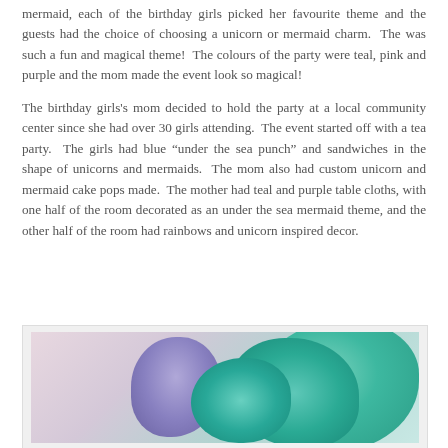mermaid, each of the birthday girls picked her favourite theme and the guests had the choice of choosing a unicorn or mermaid charm.  The was such a fun and magical theme!  The colours of the party were teal, pink and purple and the mom made the event look so magical!
The birthday girls's mom decided to hold the party at a local community center since she had over 30 girls attending.  The event started off with a tea party.  The girls had blue "under the sea punch" and sandwiches in the shape of unicorns and mermaids.  The mom also had custom unicorn and mermaid cake pops made.  The mother had teal and purple table cloths, with one half of the room decorated as an under the sea mermaid theme, and the other half of the room had rainbows and unicorn inspired decor.
[Figure (photo): Close-up photo of teal/mint and purple tissue paper pom-pom decorations against a light background]